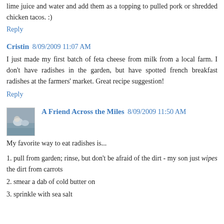lime juice and water and add them as a topping to pulled pork or shredded chicken tacos. :)
Reply
Cristin 8/09/2009 11:07 AM
I just made my first batch of feta cheese from milk from a local farm. I don't have radishes in the garden, but have spotted french breakfast radishes at the farmers' market. Great recipe suggestion!
Reply
[Figure (photo): Small avatar image of a person outdoors, grayish-blue tones]
A Friend Across the Miles 8/09/2009 11:50 AM
My favorite way to eat radishes is...
1. pull from garden; rinse, but don't be afraid of the dirt - my son just wipes the dirt from carrots
2. smear a dab of cold butter on
3. sprinkle with sea salt